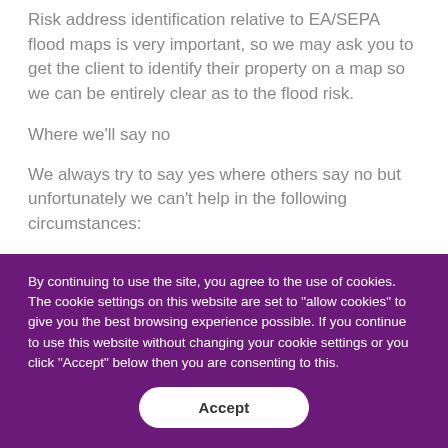Risk address identification relative to EA/SEPA flood maps is very important, so we may ask you to get the client to identify their property on a map so we can be entirely clear as to the flood risk.
Where we'll say no
We always try to say yes where others say no but unfortunately we can't help in the following circumstances:
Properties that have experienced previous flooding:
By continuing to use the site, you agree to the use of cookies. The cookie settings on this website are set to "allow cookies" to give you the best browsing experience possible. If you continue to use this website without changing your cookie settings or you click "Accept" below then you are consenting to this.
Accept